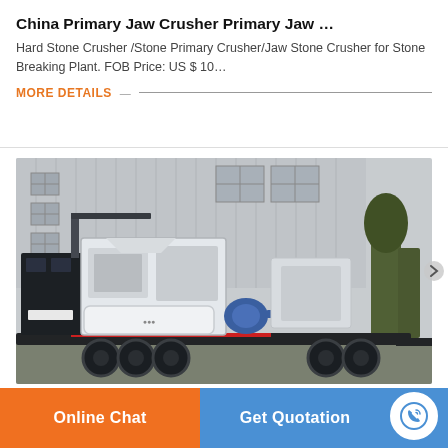China Primary Jaw Crusher Primary Jaw …
Hard Stone Crusher /Stone Primary Crusher/Jaw Stone Crusher for Stone Breaking Plant. FOB Price: US $ 10…
MORE DETAILS
[Figure (photo): Mobile jaw crusher mounted on a heavy-duty trailer/transport vehicle, parked in front of a large industrial building. The machine is black with white crusher unit and includes multiple axle wheels.]
Online Chat
Get Quotation